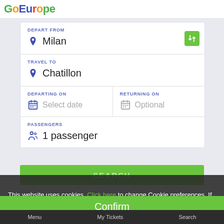[Figure (logo): GoEurope travel app logo in multi-colored text]
DEPART FROM
Milan
TRAVEL TO
Chatillon
DEPARTING ON
Select date
RETURNING ON
Optional
PASSENGERS
1 passenger
SEARCH
This website uses cookies. Click here to change Cookie preferences. If that's okay with you, click Confirm.
Confirm
Menu   My tickets   Search